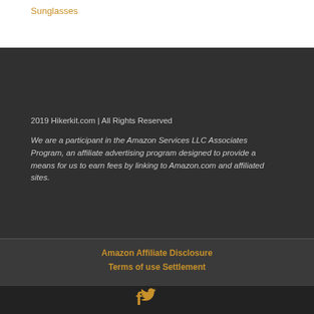Sunglasses
2019 Hikerkit.com | All Rights Reserved
We are a participant in the Amazon Services LLC Associates Program, an affiliate advertising program designed to provide a means for us to earn fees by linking to Amazon.com and affiliated sites.
Amazon Affiliate Disclosure
Terms of use Settlement
[Figure (other): Facebook and Twitter social media icons in orange/gold color]